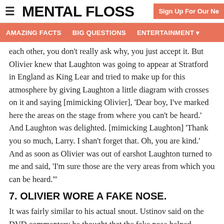MENTAL FLOSS | Sign Up For Our Ne
AMAZING FACTS   BIG QUESTIONS   ENTERTAINMENT
each other, you don't really ask why, you just accept it. But Olivier knew that Laughton was going to appear at Stratford in England as King Lear and tried to make up for this atmosphere by giving Laughton a little diagram with crosses on it and saying [mimicking Olivier], 'Dear boy, I've marked here the areas on the stage from where you can't be heard.' And Laughton was delighted. [mimicking Laughton] 'Thank you so much, Larry. I shan't forget that. Oh, you are kind.' And as soon as Olivier was out of earshot Laughton turned to me and said, 'I'm sure those are the very areas from which you can be heard.'''
7. OLIVIER WORE A FAKE NOSE.
It was fairly similar to his actual snout. Ustinov said on the DVD commentary he thought that the fake nose helped Olivier